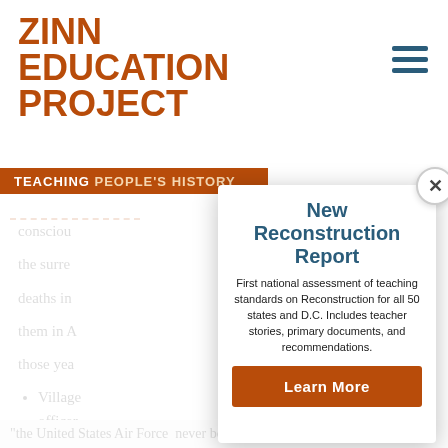ZINN EDUCATION PROJECT
TEACHING PEOPLE'S HISTORY
conscious the surre deaths in them in A those yea
Village officer shocke being b Senato
"the United States Air Force never bombs
[Figure (infographic): Modal popup with title 'New Reconstruction Report', description text, and Learn More button]
New Reconstruction Report
First national assessment of teaching standards on Reconstruction for all 50 states and D.C. Includes teacher stories, primary documents, and recommendations.
Learn More